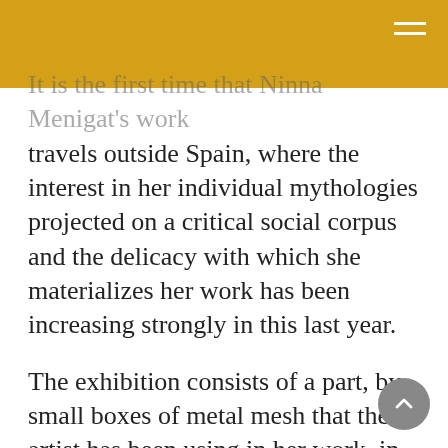It is the first time that Ninna Menigat's work travels outside Spain, where the interest in her individual mythologies projected on a critical social corpus and the delicacy with which she materializes her work has been increasing strongly in this last year.
The exhibition consists of a part, by small boxes of metal mesh that the artist has been using in her work, in an obsessive way; fragile spaces of protection / seclusion that contain, bones that converse among them, levitate, or struggle to leave to a questionable outer space.